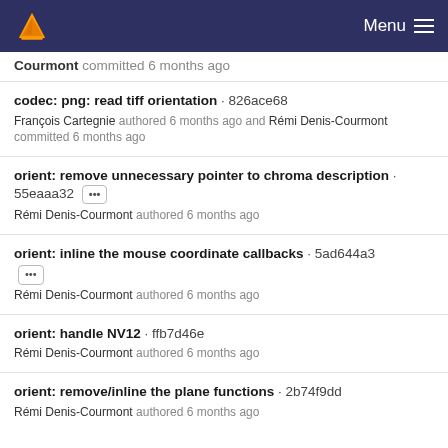Menu
Courmont committed 6 months ago
codec: png: read tiff orientation · 826ace68
François Cartegnie authored 6 months ago and Rémi Denis-Courmont committed 6 months ago
orient: remove unnecessary pointer to chroma description · 55eaaa32 [...]
Rémi Denis-Courmont authored 6 months ago
orient: inline the mouse coordinate callbacks · 5ad644a3 [...]
Rémi Denis-Courmont authored 6 months ago
orient: handle NV12 · ffb7d46e
Rémi Denis-Courmont authored 6 months ago
orient: remove/inline the plane functions · 2b74f9dd
Rémi Denis-Courmont authored 6 months ago